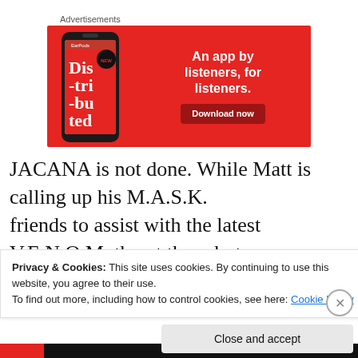Advertisements
[Figure (illustration): Red advertisement banner for a podcast app showing a smartphone with 'Distributed' text and the tagline 'An app by listeners, for listeners.' with a 'Download now' button]
JACANA is not done. While Matt is calling up his M.A.S.K. friends to assist with the latest V.E.N.O.M. threat the robot
Privacy & Cookies: This site uses cookies. By continuing to use this website, you agree to their use.
To find out more, including how to control cookies, see here: Cookie Policy
Close and accept